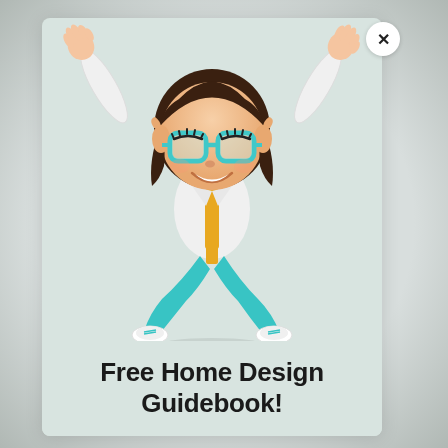[Figure (illustration): 3D cartoon illustration of a girl with dark hair, large teal glasses, white jacket, yellow shirt, teal pants and white sneakers, arms raised joyfully, jumping pose]
Free Home Design Guidebook!